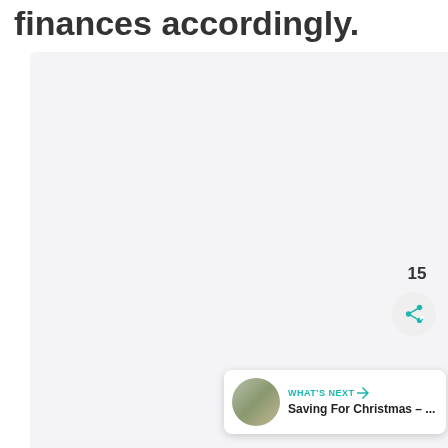finances accordingly.
[Figure (photo): Large light gray placeholder image area occupying most of the page below the title text]
[Figure (other): Teal circular like/heart button with heart icon, like count 15, and a light gray circular share button with teal share icon, positioned on the right side]
WHAT'S NEXT → Saving For Christmas – ...